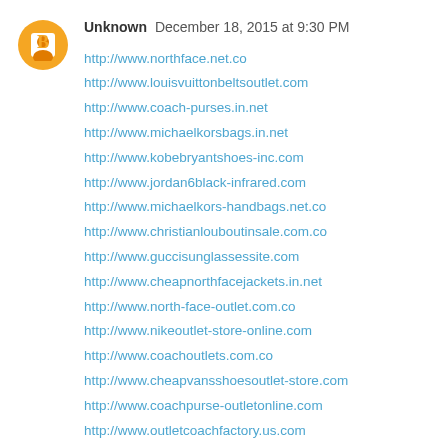Unknown  December 18, 2015 at 9:30 PM
http://www.northface.net.co
http://www.louisvuittonbeltsoutlet.com
http://www.coach-purses.in.net
http://www.michaelkorsbags.in.net
http://www.kobebryantshoes-inc.com
http://www.jordan6black-infrared.com
http://www.michaelkors-handbags.net.co
http://www.christianlouboutinsale.com.co
http://www.guccisunglassessite.com
http://www.cheapnorthfacejackets.in.net
http://www.north-face-outlet.com.co
http://www.nikeoutlet-store-online.com
http://www.coachoutlets.com.co
http://www.cheapvansshoesoutlet-store.com
http://www.coachpurse-outletonline.com
http://www.outletcoachfactory.us.com
http://www.abercrombieandfitch-outlet.com
http://www.coachpurses--outletonline.com
http://www.tomsoutletsite.com